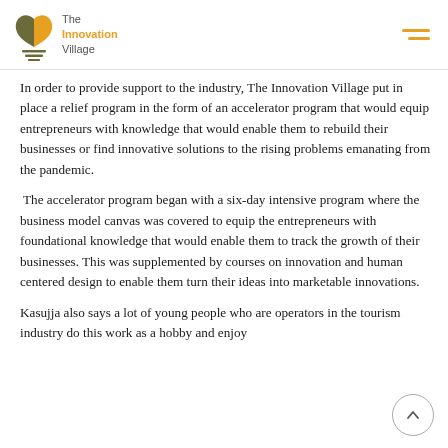The Innovation Village
In order to provide support to the industry, The Innovation Village put in place a relief program in the form of an accelerator program that would equip entrepreneurs with knowledge that would enable them to rebuild their businesses or find innovative solutions to the rising problems emanating from the pandemic.
The accelerator program began with a six-day intensive program where the business model canvas was covered to equip the entrepreneurs with foundational knowledge that would enable them to track the growth of their businesses. This was supplemented by courses on innovation and human centered design to enable them turn their ideas into marketable innovations.
Kasujja also says a lot of young people who are operators in the tourism industry do this work as a hobby and enjoy